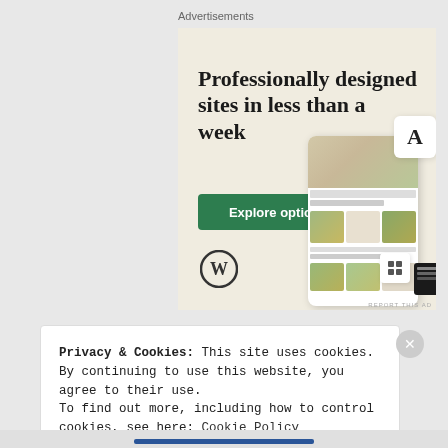Advertisements
[Figure (illustration): WordPress advertisement banner with beige/cream background. Large bold text reads 'Professionally designed sites in less than a week'. Green 'Explore options' button. WordPress logo (W in circle). Device mockups showing website designs with food photography. White card with letter A. Small white card with icon. Dark card on right side. 'REPORT THIS AD' text in bottom-right corner.]
Privacy & Cookies: This site uses cookies. By continuing to use this website, you agree to their use.
To find out more, including how to control cookies, see here: Cookie Policy
Close and accept